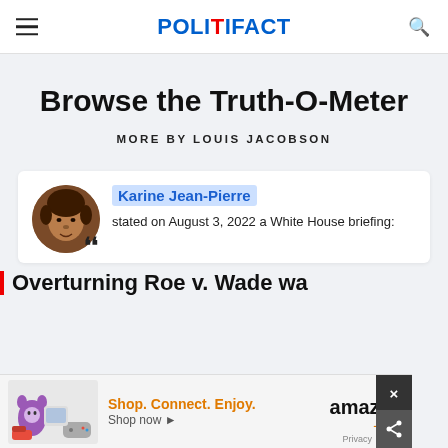POLITIFACT
Browse the Truth-O-Meter
MORE BY LOUIS JACOBSON
Karine Jean-Pierre stated on August 3, 2022 a White House briefing:
Overturning Roe v. Wade wa...
[Figure (other): Advertisement banner: Shop. Connect. Enjoy. amazon Shop now ▸]